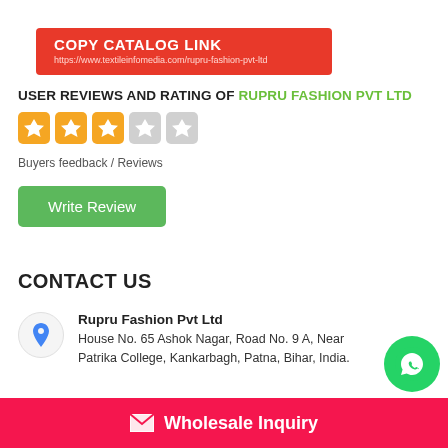[Figure (other): Red button with 'COPY CATALOG LINK' and URL https://www.textileinfomedia.com/rupru-fashion-pvt-ltd]
USER REVIEWS AND RATING OF RUPRU FASHION PVT LTD
[Figure (other): Star rating: 3 out of 5 stars (3 filled orange stars, 2 empty grey stars)]
Buyers feedback / Reviews
[Figure (other): Green 'Write Review' button]
CONTACT US
Rupru Fashion Pvt Ltd
House No. 65 Ashok Nagar, Road No. 9 A, Near Patrika College, Kankarbagh, Patna, Bihar, India.
Priya Shalini ( POC )
[Figure (other): Green WhatsApp circular button icon]
Wholesale Inquiry